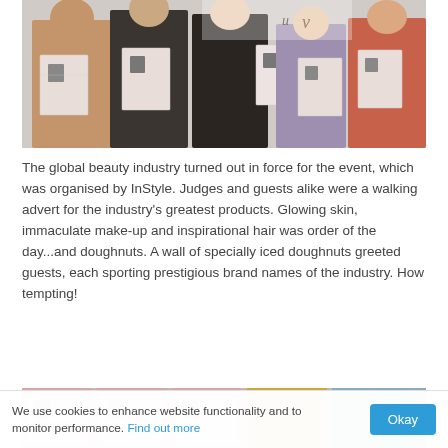[Figure (photo): Group of women holding up pink booklets/certificates at an event, smiling for the camera against a light backdrop]
The global beauty industry turned out in force for the event, which was organised by InStyle. Judges and guests alike were a walking advert for the industry's greatest products. Glowing skin, immaculate make-up and inspirational hair was order of the day...and doughnuts. A wall of specially iced doughnuts greeted guests, each sporting prestigious brand names of the industry. How tempting!
[Figure (photo): Partial view of a display with pink panels and beauty products at an event]
We use cookies to enhance website functionality and to monitor performance. Find out more